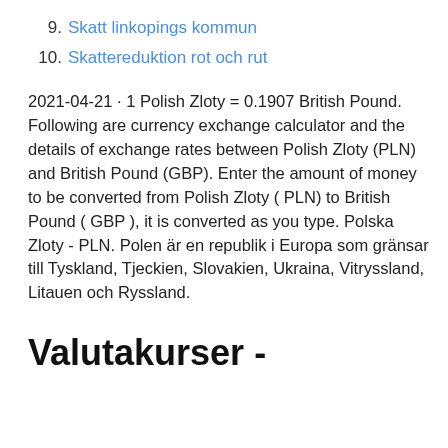9. Skatt linkopings kommun
10. Skattereduktion rot och rut
2021-04-21 · 1 Polish Zloty = 0.1907 British Pound. Following are currency exchange calculator and the details of exchange rates between Polish Zloty (PLN) and British Pound (GBP). Enter the amount of money to be converted from Polish Zloty ( PLN) to British Pound ( GBP ), it is converted as you type. Polska Zloty - PLN. Polen är en republik i Europa som gränsar till Tyskland, Tjeckien, Slovakien, Ukraina, Vitryssland, Litauen och Ryssland.
Valutakurser -